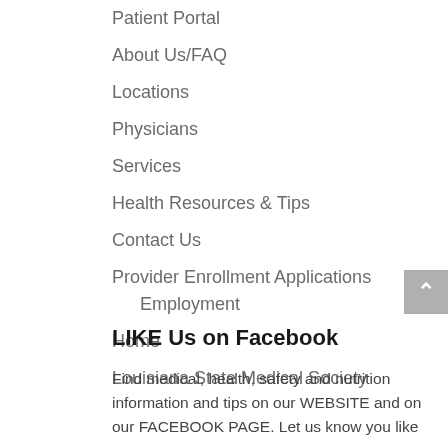Patient Portal
About Us/FAQ
Locations
Physicians
Services
Health Resources & Tips
Contact Us
Provider Enrollment Applications
Employment
Home
Louisiana State Medical Society
LIKE Us on Facebook
Find medical, health, safety and nutrition information and tips on our WEBSITE and on our FACEBOOK PAGE. Let us know you like our